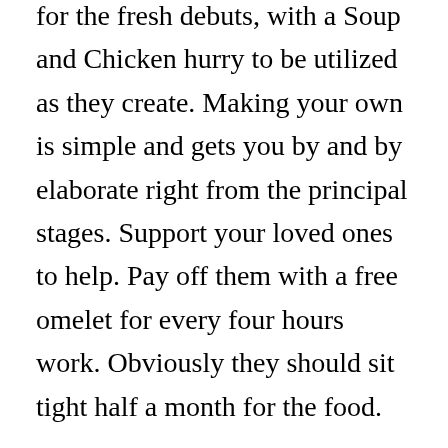for the fresh debuts, with a Soup and Chicken hurry to be utilized as they create. Making your own is simple and gets you by and by elaborate right from the principal stages. Support your loved ones to help. Pay off them with a free omelet for every four hours work. Obviously they should sit tight half a month for the food.
Stage 2. Study the counsel about raising your fresh introductions. Simply think about them as a feature of the new family. While they won't be around however long the entirety of your human individuals from your gathering of loved ones, they ought to